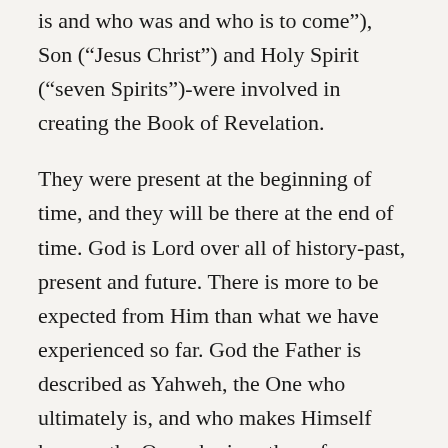is and who was and who is to come”), Son (“Jesus Christ”) and Holy Spirit (“seven Spirits”)-were involved in creating the Book of Revelation.
They were present at the beginning of time, and they will be there at the end of time. God is Lord over all of history-past, present and future. There is more to be expected from Him than what we have experienced so far. God the Father is described as Yahweh, the One who ultimately is, and who makes Himself known, the One who is author of grace and peace. The Holy Spirt is described as being in fellowship with the Father and Son, and who from that presence also sends grace and peace to the